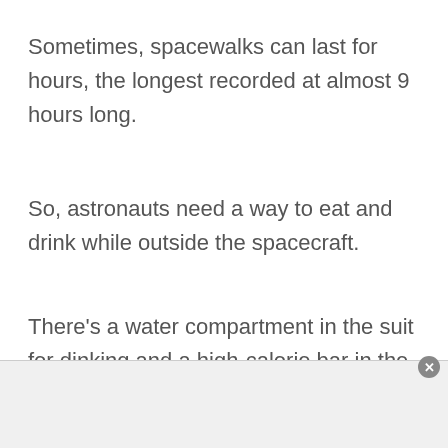Sometimes, spacewalks can last for hours, the longest recorded at almost 9 hours long.
So, astronauts need a way to eat and drink while outside the spacecraft.
There’s a water compartment in the suit for dinking and a high-calorie bar in the helmet.